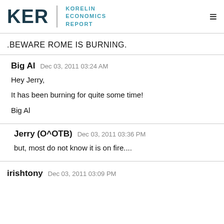KER | KORELIN ECONOMICS REPORT
.BEWARE ROME IS BURNING.
Big Al  Dec 03, 2011 03:24 AM
Hey Jerry,
It has been burning for quite some time!
Big Al
Jerry (O^OTB)  Dec 03, 2011 03:36 PM
but, most do not know it is on fire....
irishtony  Dec 03, 2011 03:09 PM